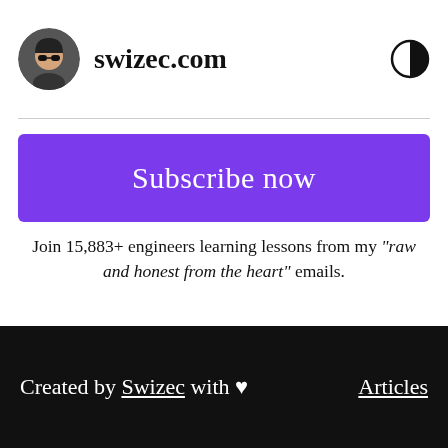swizec.com
Subscribe now
Join 15,883+ engineers learning lessons from my "raw and honest from the heart" emails.
[Figure (other): Five star rating icons (filled squares with X marks)]
4.5 stars average rating
Created by Swizec with ♥   Articles